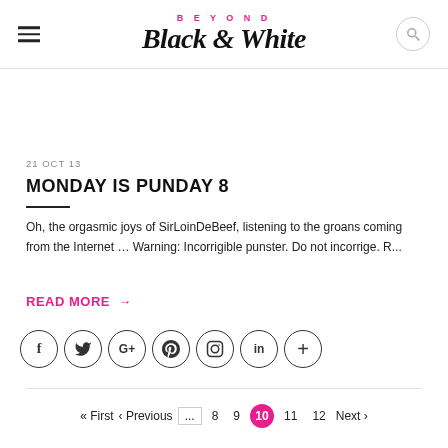BEYOND Black & White
21 OCT 13
MONDAY IS PUNDAY 8
Oh, the orgasmic joys of SirLoinDeBeef, listening to the groans coming from the Internet … Warning: Incorrigible punster. Do not incorrige. R...
READ MORE →
[Figure (infographic): Social media icon buttons: Facebook, Twitter, Google+, Pinterest, Instagram, LinkedIn, and a plus/share icon — all in outlined circles]
« First  ‹ Previous  ...  8  9  10  11  12  Next ›